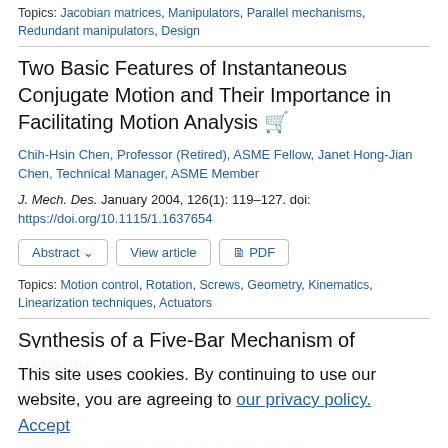Topics: Jacobian matrices, Manipulators, Parallel mechanisms, Redundant manipulators, Design
Two Basic Features of Instantaneous Conjugate Motion and Their Importance in Facilitating Motion Analysis
Chih-Hsin Chen, Professor (Retired), ASME Fellow, Janet Hong-Jian Chen, Technical Manager, ASME Member
J. Mech. Des. January 2004, 126(1): 119–127. doi: https://doi.org/10.1115/1.1637654
Abstract | View article | PDF
Topics: Motion control, Rotation, Screws, Geometry, Kinematics, Linearization techniques, Actuators
Synthesis of a Five-Bar Mechanism of Variable Topology Type With Transmission Angle Control
J. Mech. Des. January 2004, 126(1): 128–134. doi: https://doi.org/10.1115/1.1632880
This site uses cookies. By continuing to use our website, you are agreeing to our privacy policy. Accept